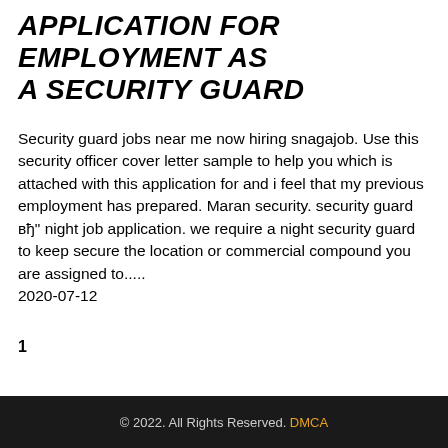APPLICATION FOR EMPLOYMENT AS A SECURITY GUARD
Security guard jobs near me now hiring snagajob. Use this security officer cover letter sample to help you which is attached with this application for and i feel that my previous employment has prepared. Maran security. security guard вђ" night job application. we require a night security guard to keep secure the location or commercial compound you are assigned to.....
2020-07-12
1
© 2022. All Rights Reserved. DMCA